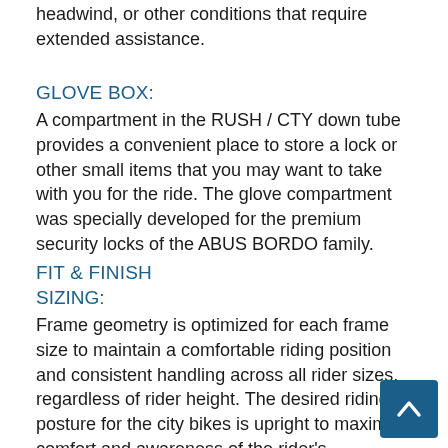headwind, or other conditions that require extended assistance.
GLOVE BOX:
A compartment in the RUSH / CTY down tube provides a convenient place to store a lock or other small items that you may want to take with you for the ride. The glove compartment was specially developed for the premium security locks of the ABUS BORDO family.
FIT & FINISH
SIZING:
Frame geometry is optimized for each frame size to maintain a comfortable riding position and consistent handling across all rider sizes, regardless of rider height. The desired riding posture for the city bikes is upright to maximize comfort and awareness of the rider's surroundings. Both the frame geometry and contact points were